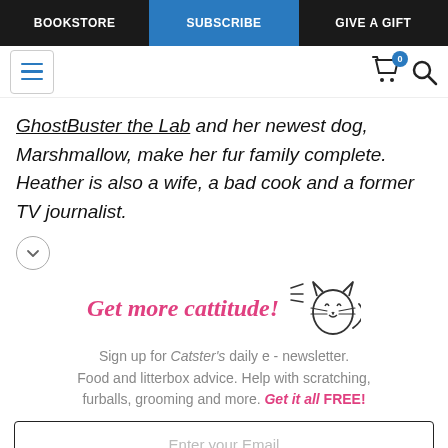BOOKSTORE | SUBSCRIBE | GIVE A GIFT
GhostBuster the Lab and her newest dog, Marshmallow, make her fur family complete. Heather is also a wife, a bad cook and a former TV journalist.
Get more cattitude!
Sign up for Catster's daily e - newsletter. Food and litterbox advice. Help with scratching, furballs, grooming and more. Get it all FREE!
Enter your Email
YES! SIGN ME UP